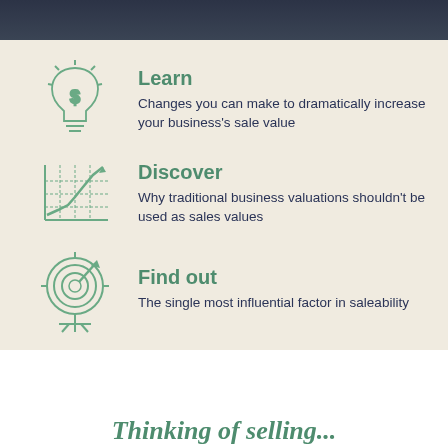Learn — Changes you can make to dramatically increase your business's sale value
Discover — Why traditional business valuations shouldn't be used as sales values
Find out — The single most influential factor in saleability
Thinking of selling...